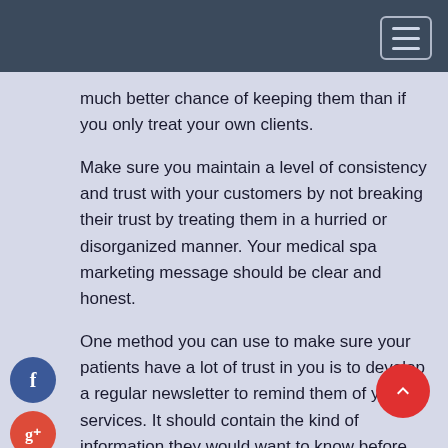much better chance of keeping them than if you only treat your own clients.
Make sure you maintain a level of consistency and trust with your customers by not breaking their trust by treating them in a hurried or disorganized manner. Your medical spa marketing message should be clear and honest.
One method you can use to make sure your patients have a lot of trust in you is to develop a regular newsletter to remind them of your services. It should contain the kind of information they would want to know before visiting your office, or before they make their appointment.